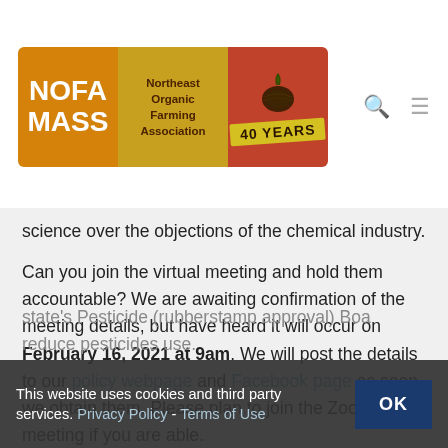[Figure (logo): NOFA MASS – Northeast Organic Farming Association logo with 40 Years badge]
science over the objections of the chemical industry.
Can you join the virtual meeting and hold them accountable? We are awaiting confirmation of the meeting details, but have heard it will occur on February 16, 2021 at 9am. We will post the details to our policy webpage and Facebook page as soon we obtain them. Please plan to join the Zoom meeting if you are able.
At the hearing last December, more than half of the legislature endorsed a statement demonstrating an increasingly held belief that they can't leave it to the state's Pesticide (rubberstamp approval) Board to reduce pesticides use.
This website uses cookies and third party services. Privacy Policy - Terms of Use